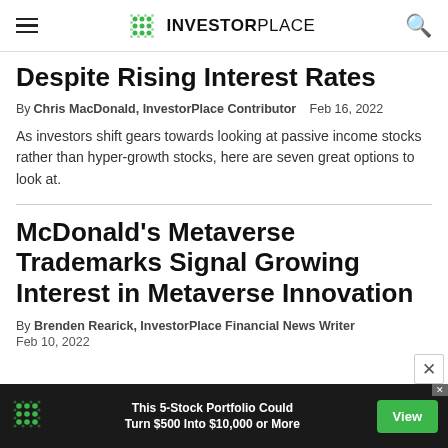INVESTORPLACE
Despite Rising Interest Rates
By Chris MacDonald, InvestorPlace Contributor  Feb 16, 2022
As investors shift gears towards looking at passive income stocks rather than hyper-growth stocks, here are seven great options to look at.
McDonald's Metaverse Trademarks Signal Growing Interest in Metaverse Innovation
By Brenden Rearick, InvestorPlace Financial News Writer  Feb 10, 2022
[Figure (infographic): Advertisement banner: InvestorPlace logo icon, text 'This 5-Stock Portfolio Could Turn $500 Into $10,000 or More', green View button]